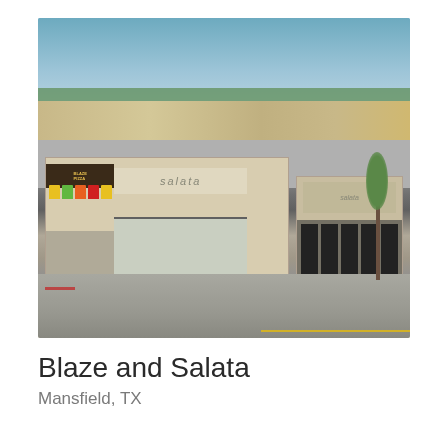[Figure (photo): Aerial view of Blaze Pizza and Salata restaurant buildings in a strip mall parking lot in Mansfield, TX. The foreground shows two modern commercial buildings with stone facades — one with colorful awnings and Blaze Pizza signage, another with a large Salata sign. Behind them is a large parking lot with vehicles and a strip of retail stores in the background under a blue sky.]
Blaze and Salata
Mansfield, TX